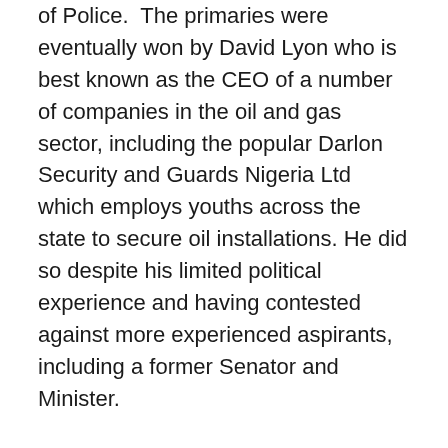of Police. The primaries were eventually won by David Lyon who is best known as the CEO of a number of companies in the oil and gas sector, including the popular Darlon Security and Guards Nigeria Ltd which employs youths across the state to secure oil installations. He did so despite his limited political experience and having contested against more experienced aspirants, including a former Senator and Minister.
However, the most vivid demonstration of quality aspirants was found in the ruling Peoples Democratic Party (PDP). The roll call of its aspirants included persons from a technocratic background like the serving deputy governor, Rear Admiral Gboribiogha John Jonah (rtd) and a former diplomat and federal permanent secretary, Amb. Boladei Igali. There were also aspirants from a strong professional background like Arc. Reuben Okoya and Barr Anthony